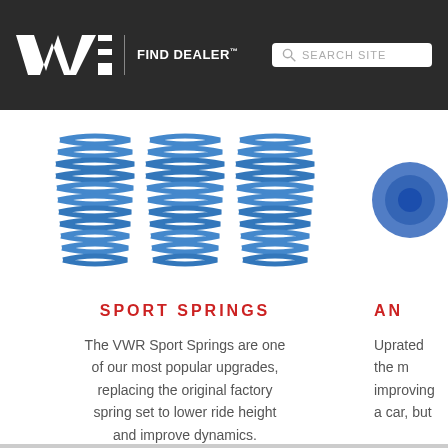LIFESTYLE | FIND DEALER™ | SEARCH SITE
[Figure (photo): Blue VWR coil sport springs set of four]
SPORT SPRINGS
The VWR Sport Springs are one of our most popular upgrades, replacing the original factory spring set to lower ride height and improve dynamics.
[Figure (photo): Blue anti-roll bar component, partially visible on right side]
AN
Uprated the m improving a car, but